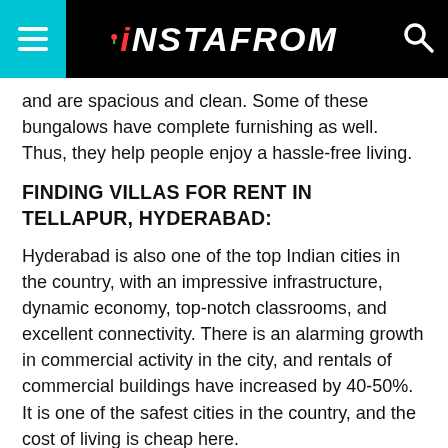INSTAFROM
and are spacious and clean. Some of these bungalows have complete furnishing as well. Thus, they help people enjoy a hassle-free living.
FINDING VILLAS FOR RENT IN TELLAPUR, HYDERABAD:
Hyderabad is also one of the top Indian cities in the country, with an impressive infrastructure, dynamic economy, top-notch classrooms, and excellent connectivity. There is an alarming growth in commercial activity in the city, and rentals of commercial buildings have increased by 40-50%. It is one of the safest cities in the country, and the cost of living is cheap here.
There are many beautiful areas in Hyderabad to live in. These include Pragathi Nagar,